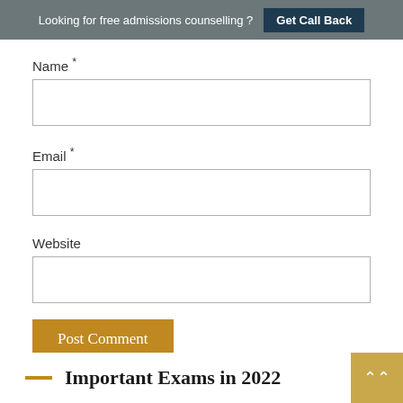Looking for free admissions counselling ? Get Call Back
Name *
Email *
Website
Post Comment
Important Exams in 2022